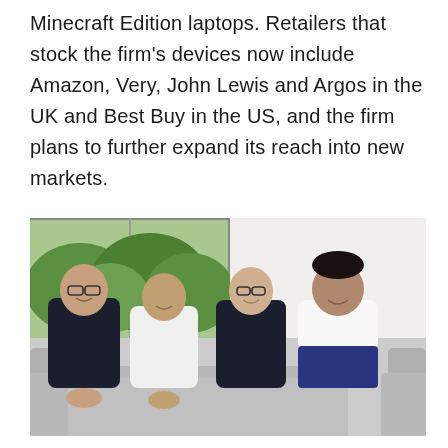Minecraft Edition laptops. Retailers that stock the firm's devices now include Amazon, Very, John Lewis and Argos in the UK and Best Buy in the US, and the firm plans to further expand its reach into new markets.
[Figure (photo): Four men seated on grey sofas in an office setting with a large window showing greenery behind them. From left: a man in a dark suit with glasses, a bald man in a white polo shirt, a man in a dark suit with glasses, and a man in a white shirt.]